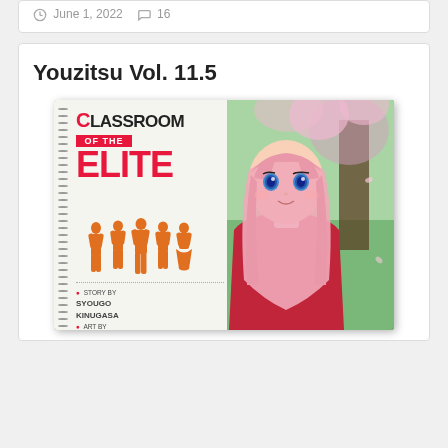June 1, 2022   16
Youzitsu Vol. 11.5
[Figure (illustration): Book cover of 'Classroom of the Elite Vol. 11.5' light novel. Shows an anime girl with long pink hair and blue eyes wearing a red uniform with a dark blue bow. Left side has the book title in red/black text on a white panel with spiral binding, orange silhouettes of students, and credits 'Story by Syougo Kinugasa, Art by Tomoseshunsaku'. Background is a cherry blossom tree scene.]